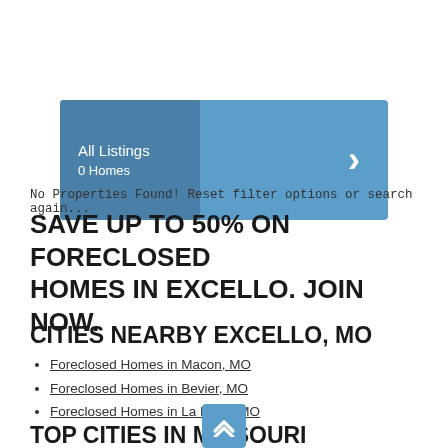[Figure (infographic): Blue banner with 'All Listings / 0 Homes' on left panel and right arrow chevron on right side]
No Properties Found! Reset filter options or search again...
SAVE UP TO 50% ON FORECLOSED HOMES IN EXCELLO. JOIN NOW.
CITIES NEARBY EXCELLO, MO
Foreclosed Homes in Macon, MO
Foreclosed Homes in Bevier, MO
Foreclosed Homes in La Plata, MO
TOP CITIES IN MISSOURI